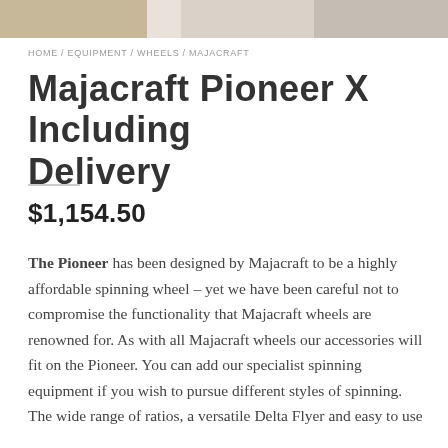[Figure (photo): Top banner with three product photos of spinning wheels, partially cropped]
HOME / EQUIPMENT / WHEELS / MAJACRAFT
Majacraft Pioneer X including DELIVERY
$1,154.50
The Pioneer has been designed by Majacraft to be a highly affordable spinning wheel – yet we have been careful not to compromise the functionality that Majacraft wheels are renowned for. As with all Majacraft wheels our accessories will fit on the Pioneer. You can add our specialist spinning equipment if you wish to pursue different styles of spinning. The wide range of ratios, a versatile Delta Flyer and easy to use